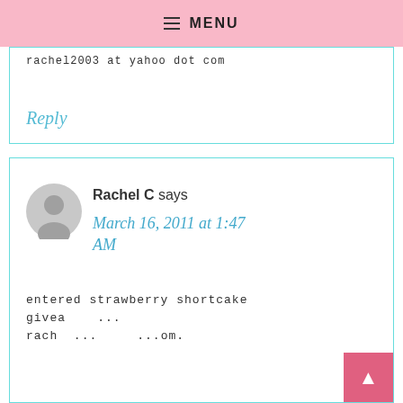MENU
rachel2003 at yahoo dot com
Reply
Rachel C says
March 16, 2011 at 1:47 AM
entered strawberry shortcake giveaway rachel...dot.com.